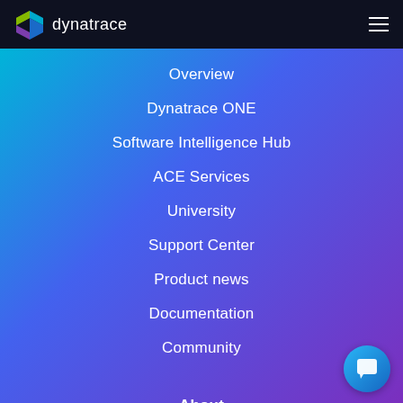dynatrace
Overview
Dynatrace ONE
Software Intelligence Hub
ACE Services
University
Support Center
Product news
Documentation
Community
About
Overview